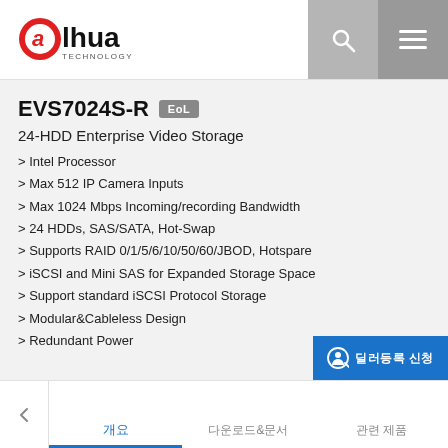Dahua Technology - EVS7024S-R product page header
EVS7024S-R EoL
24-HDD Enterprise Video Storage
> Intel Processor
> Max 512 IP Camera Inputs
> Max 1024 Mbps Incoming/recording Bandwidth
> 24 HDDs, SAS/SATA, Hot-Swap
> Supports RAID 0/1/5/6/10/50/60/JBOD, Hotspare
> iSCSI and Mini SAS for Expanded Storage Space
> Support standard iSCSI Protocol Storage
> Modular&Cableless Design
> Redundant Power
개요  다운로드&문서  관련 제품